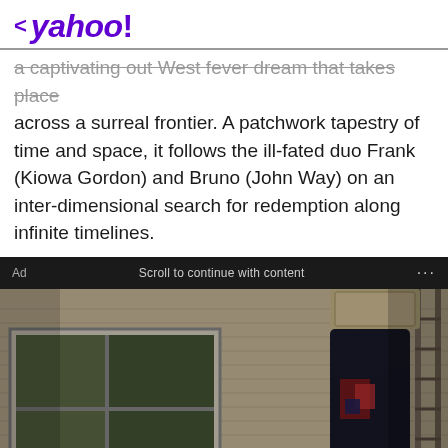< yahoo!
a captivating out West fever dream that takes place across a surreal frontier. A patchwork tapestry of time and space, it follows the ill-fated duo Frank (Kiowa Gordon) and Bruno (John Way) on an inter-dimensional search for redemption along infinite timelines.
Ad   Scroll to continue with content   ...
[Figure (photo): Person in dark clothing climbing a ladder against the side of a house, carrying a large package or bundle, with a window visible on the left side of the house.]
How Much Would